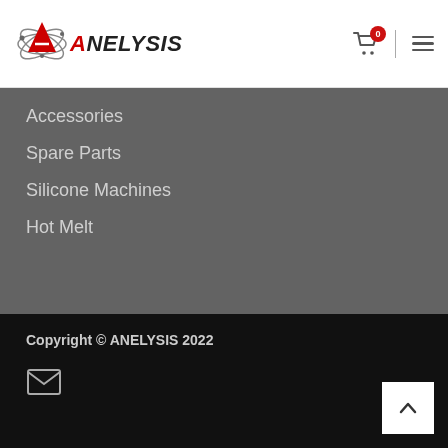[Figure (logo): ANELYSIS logo with stylized atom orbits around a red triangle/A, followed by italic bold text ANELYSIS]
Accessories
Spare Parts
Silicone Machines
Hot Melt
Copyright © ANELYSIS 2022